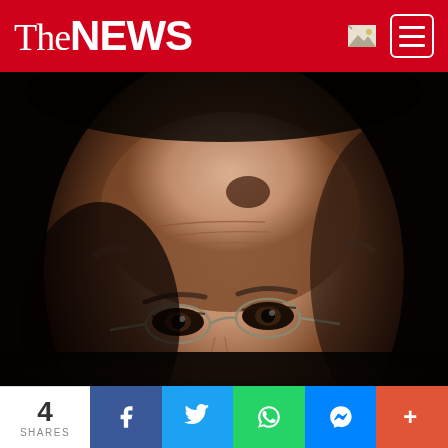The NEWS
[Figure (photo): Close-up photo of an elderly man with glasses against a dark background, showing the top of his head and eyes.]
3 hours ago
Why Gorbachev wasn’t a hero